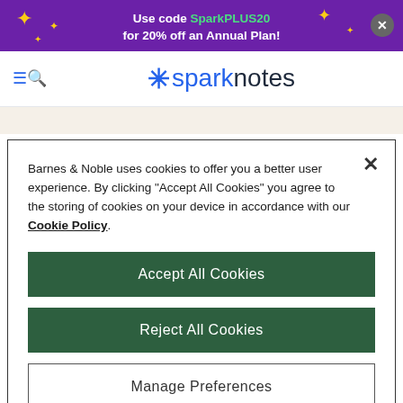Use code SparkPLUS20 for 20% off an Annual Plan!
[Figure (logo): SparkNotes logo with blue asterisk and text]
Barnes & Noble uses cookies to offer you a better user experience. By clicking "Accept All Cookies" you agree to the storing of cookies on your device in accordance with our Cookie Policy.
Accept All Cookies
Reject All Cookies
Manage Preferences